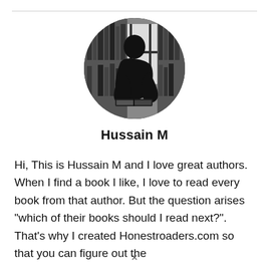[Figure (photo): Circular profile photo of a person silhouetted against a bright window, reading a book in a library-like setting. Black and white image.]
Hussain M
Hi, This is Hussain M and I love great authors. When I find a book I like, I love to read every book from that author. But the question arises "which of their books should I read next?". That's why I created Honestroaders.com so that you can figure out the
×